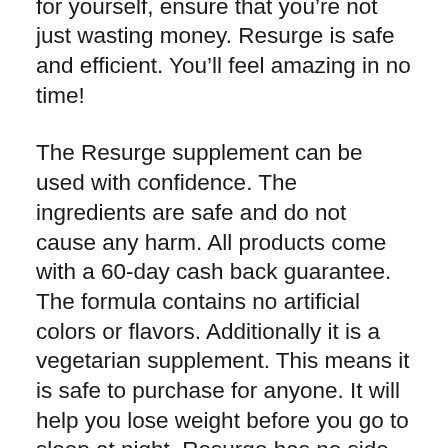supplement. If you're buying Resurge for yourself, ensure that you're not just wasting money. Resurge is safe and efficient. You'll feel amazing in no time!
The Resurge supplement can be used with confidence. The ingredients are safe and do not cause any harm. All products come with a 60-day cash back guarantee. The formula contains no artificial colors or flavors. Additionally it is a vegetarian supplement. This means it is safe to purchase for anyone. It will help you lose weight before you go to sleep at night. Resurge has no side negative effects.
Resurge isn't a magic bullet. It is a supplement that acts within the body. It